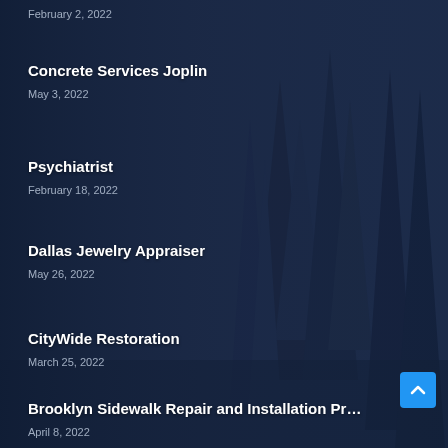February 2, 2022
Concrete Services Joplin
May 3, 2022
Psychiatrist
February 18, 2022
Dallas Jewelry Appraiser
May 26, 2022
CityWide Restoration
March 25, 2022
Brooklyn Sidewalk Repair and Installation Pr…
April 8, 2022